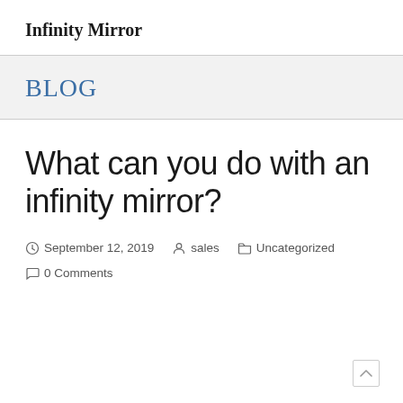Infinity Mirror
BLOG
What can you do with an infinity mirror?
September 12, 2019   sales   Uncategorized   0 Comments